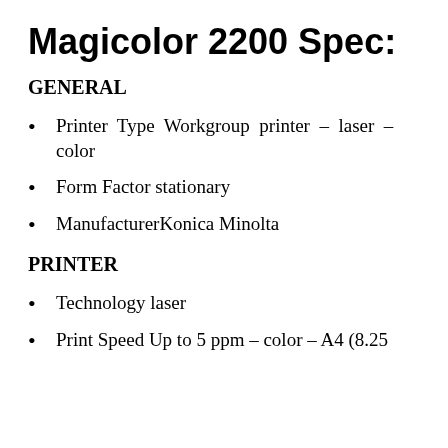Magicolor 2200 Spec:
GENERAL
Printer Type Workgroup printer – laser – color
Form Factor stationary
ManufacturerKonica Minolta
PRINTER
Technology laser
Print Speed Up to 5 ppm – color – A4 (8.25